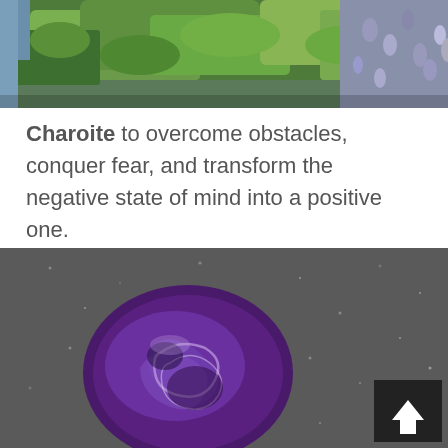[Figure (photo): Top portion of a photo showing green mossy plants and small purple/blue flowers or buds against a natural outdoor background.]
Charoite to overcome obstacles, conquer fear, and transform the negative state of mind into a positive one.
[Figure (photo): A polished charoite gemstone with deep purple and swirling violet/white patterns, placed on a dark gray textured surface. A dark scroll-to-top arrow button is visible in the bottom-right corner.]